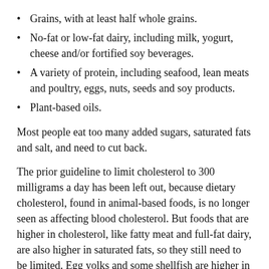Grains, with at least half whole grains.
No-fat or low-fat dairy, including milk, yogurt, cheese and/or fortified soy beverages.
A variety of protein, including seafood, lean meats and poultry, eggs, nuts, seeds and soy products.
Plant-based oils.
Most people eat too many added sugars, saturated fats and salt, and need to cut back.
The prior guideline to limit cholesterol to 300 milligrams a day has been left out, because dietary cholesterol, found in animal-based foods, is no longer seen as affecting blood cholesterol. But foods that are higher in cholesterol, like fatty meat and full-fat dairy, are also higher in saturated fats, so they still need to be limited. Egg yolks and some shellfish are higher in cholesterol but not in saturated fat and can be part of